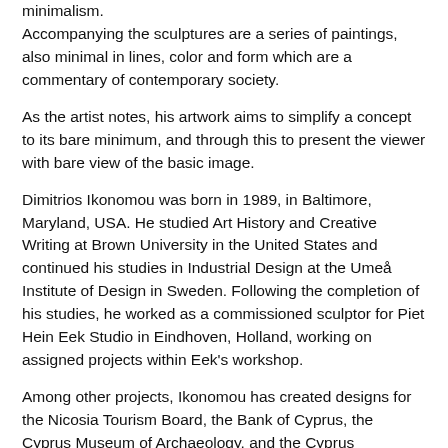minimalism.
Accompanying the sculptures are a series of paintings, also minimal in lines, color and form which are a commentary of contemporary society.
As the artist notes, his artwork aims to simplify a concept to its bare minimum, and through this to present the viewer with bare view of the basic image.
Dimitrios Ikonomou was born in 1989, in Baltimore, Maryland, USA. He studied Art History and Creative Writing at Brown University in the United States and continued his studies in Industrial Design at the Umeå Institute of Design in Sweden. Following the completion of his studies, he worked as a commissioned sculptor for Piet Hein Eek Studio in Eindhoven, Holland, working on assigned projects within Eek's workshop.
Among other projects, Ikonomou has created designs for the Nicosia Tourism Board, the Bank of Cyprus, the Cyprus Museum of Archaeology, and the Cyprus Handicraft Services. He is co-producer of the VR documentary The Green Line, which premiered at the 71st Cannes Film Festival. The Green...